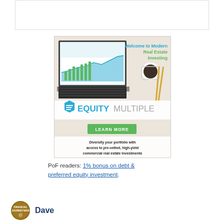[Figure (other): Empty white box with light gray border at top of page]
[Figure (infographic): EquityMultiple advertisement showing laptop with charts, coffee cup, company logo, 'LEARN MORE' green button, and text 'Welcome to Modern Real Estate Investing' and 'Diversify your portfolio with access to pre-vetted, high-yield commercial real estate investments']
PoF readers: 1% bonus on debt & preferred equity investment.
[Figure (logo): Financial Journeyman circular logo badge]
Dave